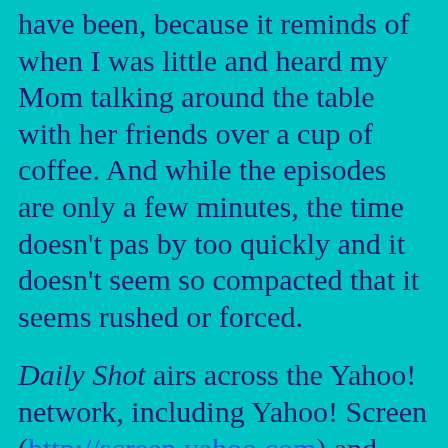have been, because it reminds of when I was little and heard my Mom talking around the table with her friends over a cup of coffee. And while the episodes are only a few minutes, the time doesn't pas by too quickly and it doesn't seem so compacted that it seems rushed or forced.

Daily Shot airs across the Yahoo! network, including Yahoo! Screen (http://screen.yahoo.com) and Shine (http://shine.yahoo.com) and on Disney's leading online parenting platform, Babble.com, where she also